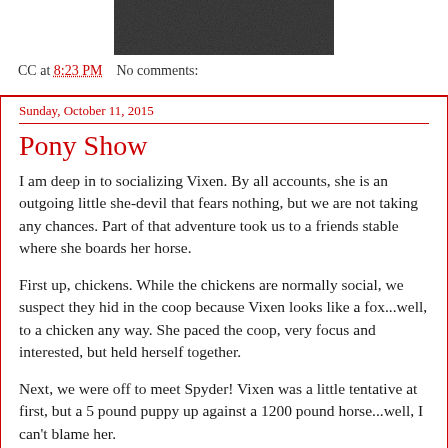[Figure (photo): Partial photograph showing a dark grainy texture, cropped at the top of the page]
CC at 8:23 PM    No comments:
Sunday, October 11, 2015
Pony Show
I am deep in to socializing Vixen. By all accounts, she is an outgoing little she-devil that fears nothing, but we are not taking any chances. Part of that adventure took us to a friends stable where she boards her horse.
First up, chickens. While the chickens are normally social, we suspect they hid in the coop because Vixen looks like a fox...well, to a chicken any way. She paced the coop, very focus and interested, but held herself together.
Next, we were off to meet Spyder! Vixen was a little tentative at first, but a 5 pound puppy up against a 1200 pound horse...well, I can't blame her.